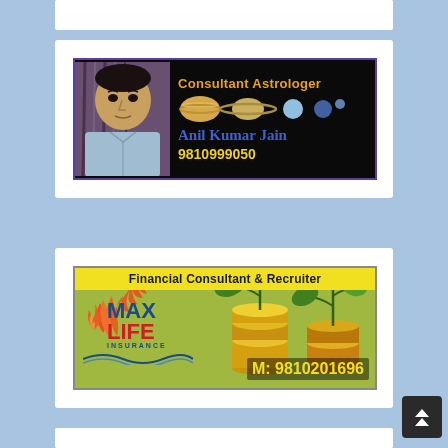[Figure (advertisement): Consultant Astrologer advertisement banner for Anil Kumar Jain with phone number 9810999050, featuring planets/space imagery and a photo of the astrologer on a dark background]
[Figure (advertisement): Financial Consultant & Recruiter advertisement for Max Life Insurance with phone number M: 9810201696, featuring green plant growth imagery on gold coins background with yellow header]